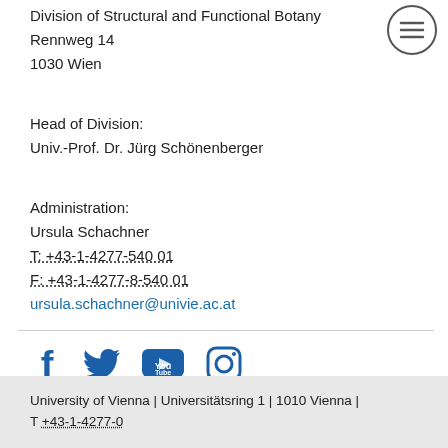Division of Structural and Functional Botany
Rennweg 14
1030 Wien
[Figure (other): Hamburger menu icon (three horizontal lines in a circle)]
Head of Division:
Univ.-Prof. Dr. Jürg Schönenberger
Administration:
Ursula Schachner
T: +43-1-4277-540 01
F: +43-1-4277-8-540 01
ursula.schachner@univie.ac.at
[Figure (other): Social media icons: Facebook, Twitter, YouTube, Instagram]
University of Vienna | Universitätsring 1 | 1010 Vienna | T +43-1-4277-0